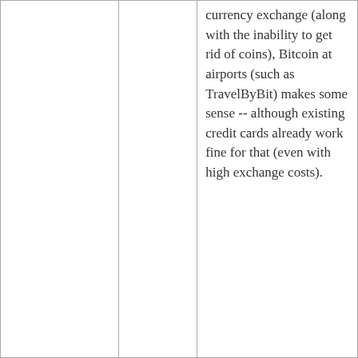|  |  | currency exchange (along with the inability to get rid of coins), Bitcoin at airports (such as TravelByBit) makes some sense -- although existing credit cards already work fine for that (even with high exchange costs). |